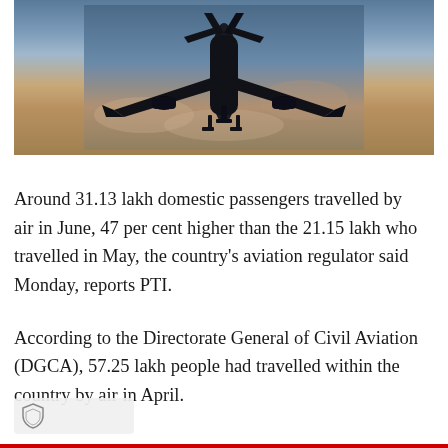[Figure (photo): Silhouette of a commercial airplane viewed from below against a dusky sky with blue and orange tones, plane approaching or taking off.]
Around 31.13 lakh domestic passengers travelled by air in June, 47 per cent higher than the 21.15 lakh who travelled in May, the country's aviation regulator said Monday, reports PTI.
According to the Directorate General of Civil Aviation (DGCA), 57.25 lakh people had travelled within the country by air in April.